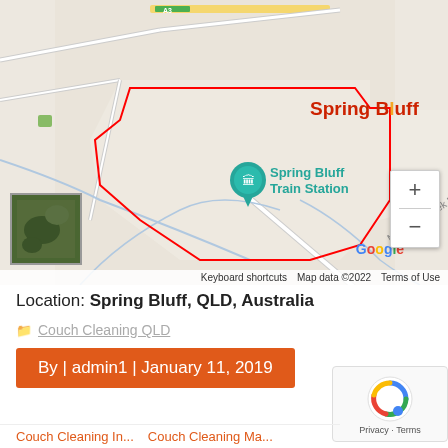[Figure (map): Google Maps screenshot showing Spring Bluff area in Queensland, Australia. A red boundary outline marks the Spring Bluff suburb. A teal map pin marks 'Spring Bluff Train Station'. 'Murphys Creek Rd' label visible. Road A3 shown at top. Zoom controls (+/-) on right side. Google logo and map footer visible. Small satellite thumbnail in bottom-left corner.]
Location: Spring Bluff, QLD, Australia
Couch Cleaning QLD
By | admin1 | January 11, 2019
Privacy · Terms